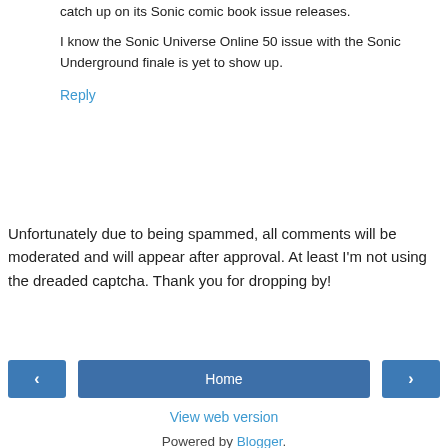catch up on its Sonic comic book issue releases.
I know the Sonic Universe Online 50 issue with the Sonic Underground finale is yet to show up.
Reply
Unfortunately due to being spammed, all comments will be moderated and will appear after approval. At least I'm not using the dreaded captcha. Thank you for dropping by!
Home | < | > | View web version | Powered by Blogger.